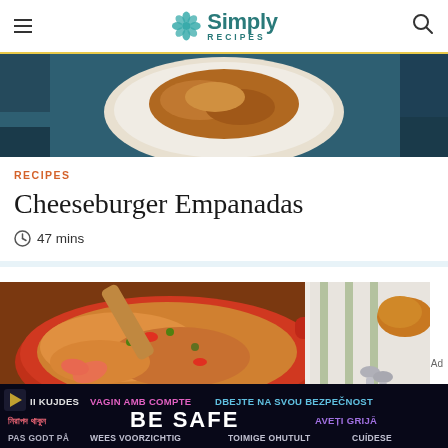Simply Recipes
[Figure (photo): Close-up of food on a white plate against a dark blue fabric background]
RECIPES
Cheeseburger Empanadas
47 mins
[Figure (photo): A red Dutch oven filled with paella rice dish containing shrimp, vegetables, and olives with a wooden spoon, beside a striped cloth and spoons]
Ad
[Figure (screenshot): Safety multilingual banner: BE SAFE warning in multiple languages including Bengali, Catalan, Czech, Slovak, Portuguese, Dutch and others]